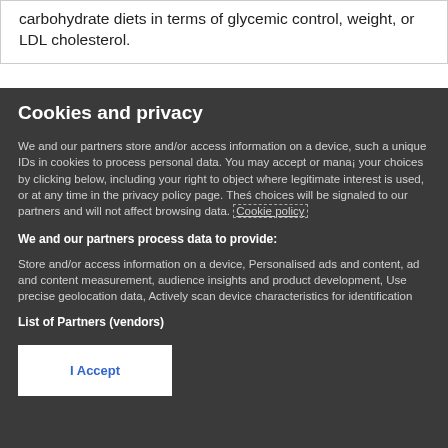carbohydrate diets in terms of glycemic control, weight, or LDL cholesterol.
Cookies and privacy
We and our partners store and/or access information on a device, such a unique IDs in cookies to process personal data. You may accept or manage your choices by clicking below, including your right to object where legitimate interest is used, or at any time in the privacy policy page. These choices will be signaled to our partners and will not affect browsing data. Cookie policy
We and our partners process data to provide:
Store and/or access information on a device, Personalised ads and content, ad and content measurement, audience insights and product development, Use precise geolocation data, Actively scan device characteristics for identification
List of Partners (vendors)
I Accept